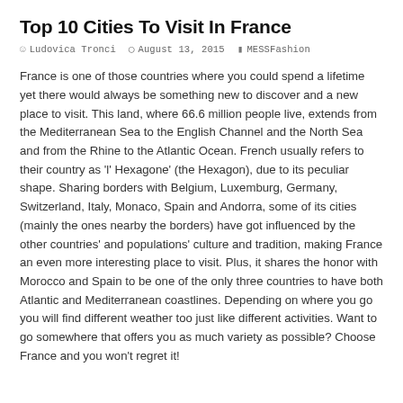Top 10 Cities To Visit In France
Ludovica Tronci   August 13, 2015   MESSFashion
France is one of those countries where you could spend a lifetime yet there would always be something new to discover and a new place to visit. This land, where 66.6 million people live, extends from the Mediterranean Sea to the English Channel and the North Sea and from the Rhine to the Atlantic Ocean. French usually refers to their country as 'l' Hexagone' (the Hexagon), due to its peculiar shape. Sharing borders with Belgium, Luxemburg, Germany, Switzerland, Italy, Monaco, Spain and Andorra, some of its cities (mainly the ones nearby the borders) have got influenced by the other countries' and populations' culture and tradition, making France an even more interesting place to visit. Plus, it shares the honor with Morocco and Spain to be one of the only three countries to have both Atlantic and Mediterranean coastlines. Depending on where you go you will find different weather too just like different activities. Want to go somewhere that offers you as much variety as possible? Choose France and you won't regret it!